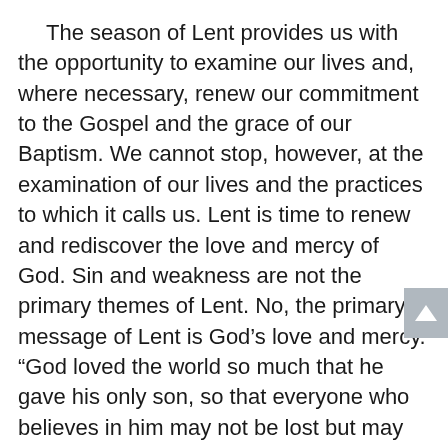The season of Lent provides us with the opportunity to examine our lives and, where necessary, renew our commitment to the Gospel and the grace of our Baptism. We cannot stop, however, at the examination of our lives and the practices to which it calls us. Lent is time to renew and rediscover the love and mercy of God. Sin and weakness are not the primary themes of Lent. No, the primary message of Lent is God’s love and mercy. “God loved the world so much that he gave his only son, so that everyone who believes in him may not be lost but may have eternal life” (Jn 3:16).
During this holy season, “Let us not lose sight of Jesus, who leads us in our faith and brings it to perfection: for the sake of the joy which was still in the future, he endured the cross . . . and has taken his place at the right of God’s throne” (Hb